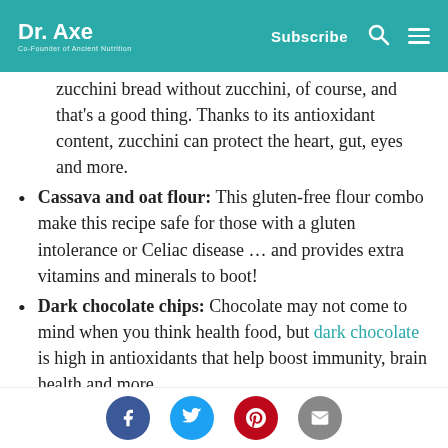Dr. Axe — Co-Founder of Ancient Nutrition | Subscribe
zucchini bread without zucchini, of course, and that's a good thing. Thanks to its antioxidant content, zucchini can protect the heart, gut, eyes and more.
Cassava and oat flour: This gluten-free flour combo make this recipe safe for those with a gluten intolerance or Celiac disease … and provides extra vitamins and minerals to boot!
Dark chocolate chips: Chocolate may not come to mind when you think health food, but dark chocolate is high in antioxidants that help boost immunity, brain health and more.
Eggs: This common baking ingredient
Social share buttons: Facebook, Twitter, Pinterest, Email